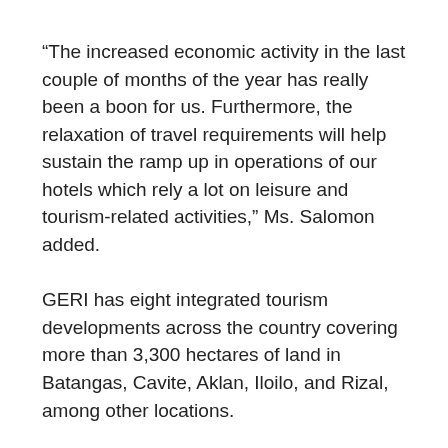“The increased economic activity in the last couple of months of the year has really been a boon for us. Furthermore, the relaxation of travel requirements will help sustain the ramp up in operations of our hotels which rely a lot on leisure and tourism-related activities,” Ms. Salomon added.
GERI has eight integrated tourism developments across the country covering more than 3,300 hectares of land in Batangas, Cavite, Aklan, Iloilo, and Rizal, among other locations.
At the stock exchange on Monday, GERI shares remained unchanged at P0.88 apiece. — Luisa Maria Jacinta C. Jocson